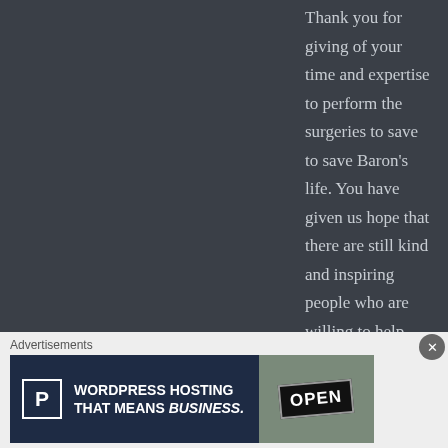Thank you for giving of your time and expertise to perform the surgeries to save to save Baron's life. You have given us hope that there are still kind and inspiring people who are willing to help animal and people. May God Bless you and thank you!
★ Like
[Figure (illustration): Circular avatar with geometric teal/white star or floral pattern on dark background]
ANONYMOUS says: March 6, 2017 at 2:27 pm
↩ Reply
Advertisements
[Figure (screenshot): WordPress Hosting advertisement banner: dark navy background with 'P' icon and text 'WORDPRESS HOSTING THAT MEANS BUSINESS.' alongside an image of an OPEN sign]